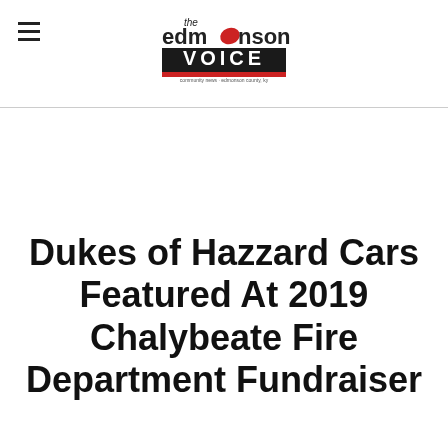the Edmonson Voice
Dukes of Hazzard Cars Featured At 2019 Chalybeate Fire Department Fundraiser